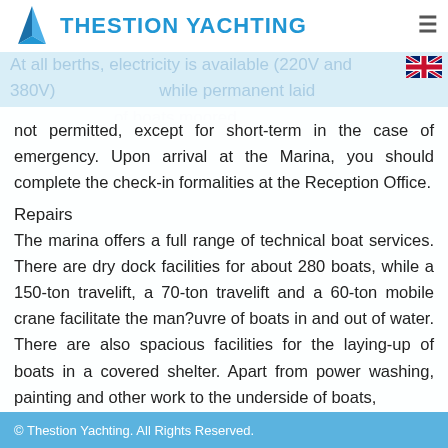Thestion Yachting
At all berths, electricity is available (220V and 380V) and water taps are available, while permanent laid... off-shore anchoring in the marina area is not permitted, except for short-term in the case of emergency. Upon arrival at the Marina, you should complete the check-in formalities at the Reception Office.
Repairs
The marina offers a full range of technical boat services. There are dry dock facilities for about 280 boats, while a 150-ton travelift, a 70-ton travelift and a 60-ton mobile crane facilitate the man?uvre of boats in and out of water. There are also spacious facilities for the laying-up of boats in a covered shelter. Apart from power washing, painting and other work to the underside of boats,
© Thestion Yachting. All Rights Reserved.